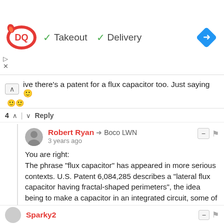[Figure (screenshot): Dairy Queen (DQ) advertisement banner with logo, checkmarks for Takeout and Delivery, and a navigation/directions icon]
ive there's a patent for a flux capacitor too. Just saying 🙂
🙂🙂
4 ^ | v Reply
Robert Ryan → Boco LWN
3 years ago
You are right:
The phrase "flux capacitor" has appeared in more serious contexts. U.S. Patent 6,084,285 describes a "lateral flux capacitor having fractal-shaped perimeters", the idea being to make a capacitor in an integrated circuit, some of whose capacitance exists between two conductors on a single layer (hence, "lateral"). The device is not a lateral flux-capacitor but a lateral-flux capacitor.
^ | v 1 Reply
Sparky2